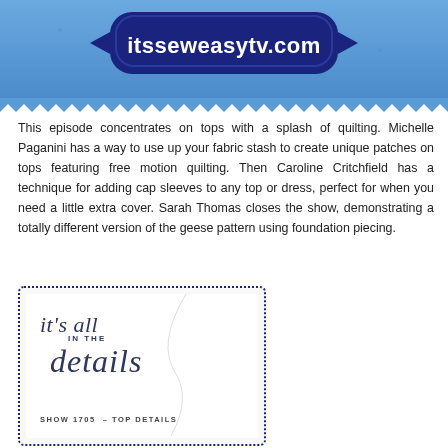[Figure (illustration): Blue fabric swatch with zigzag/pinked edges and a navy button/badge with white text 'itsseweasytv.com']
This episode concentrates on tops with a splash of quilting. Michelle Paganini has a way to use up your fabric stash to create unique patches on tops featuring free motion quilting. Then Caroline Critchfield has a technique for adding cap sleeves to any top or dress, perfect for when you need a little extra cover. Sarah Thomas closes the show, demonstrating a totally different version of the geese pattern using foundation piecing.
[Figure (illustration): Decorative card with dotted navy border reading 'it's all in the details' in script, with 'SHOW 1705 – TOP DETAILS' at the bottom in small caps]